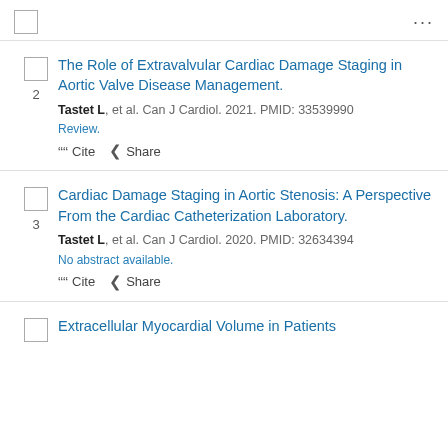...
2. The Role of Extravalvular Cardiac Damage Staging in Aortic Valve Disease Management. Tastet L, et al. Can J Cardiol. 2021. PMID: 33539990 Review.
3. Cardiac Damage Staging in Aortic Stenosis: A Perspective From the Cardiac Catheterization Laboratory. Tastet L, et al. Can J Cardiol. 2020. PMID: 32634394 No abstract available.
Extracellular Myocardial Volume in Patients